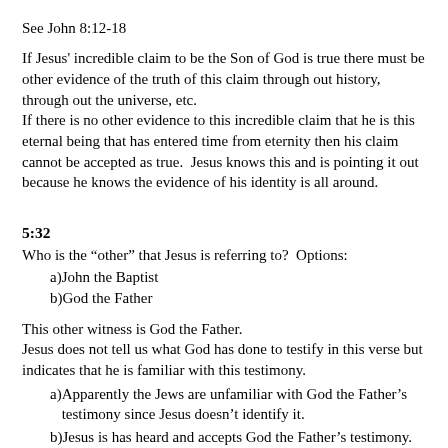See John 8:12-18
If Jesus' incredible claim to be the Son of God is true there must be other evidence of the truth of this claim through out history, through out the universe, etc.
If there is no other evidence to this incredible claim that he is this eternal being that has entered time from eternity then his claim cannot be accepted as true.  Jesus knows this and is pointing it out because he knows the evidence of his identity is all around.
5:32
Who is the “other” that Jesus is referring to?  Options:
a)  John the Baptist
b)  God the Father
This other witness is God the Father.
Jesus does not tell us what God has done to testify in this verse but indicates that he is familiar with this testimony.
a)  Apparently the Jews are unfamiliar with God the Father’s testimony since Jesus doesn’t identify it.
b)  Jesus is has heard and accepts God the Father’s testimony.  Jesus uses this    testimony as validation for himself of who he is and of his own ministry.  The Jews cannot